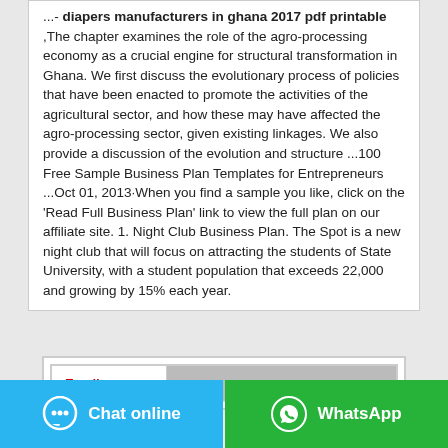...- diapers manufacturers in ghana 2017 pdf printable ,The chapter examines the role of the agro-processing economy as a crucial engine for structural transformation in Ghana. We first discuss the evolutionary process of policies that have been enacted to promote the activities of the agricultural sector, and how these may have affected the agro-processing sector, given existing linkages. We also provide a discussion of the evolution and structure ...100 Free Sample Business Plan Templates for Entrepreneurs ...Oct 01, 2013·When you find a sample you like, click on the 'Read Full Business Plan' link to view the full plan on our affiliate site. 1. Night Club Business Plan. The Spot is a new night club that will focus on attracting the students of State University, with a student population that exceeds 22,000 and growing by 15% each year.
[Figure (screenshot): A form input area with an Email label in red and a gray input field, inside a bordered box.]
[Figure (infographic): Two buttons at the bottom: a cyan 'Chat online' button with a chat bubble icon on the left, and a green 'WhatsApp' button with the WhatsApp logo on the right.]